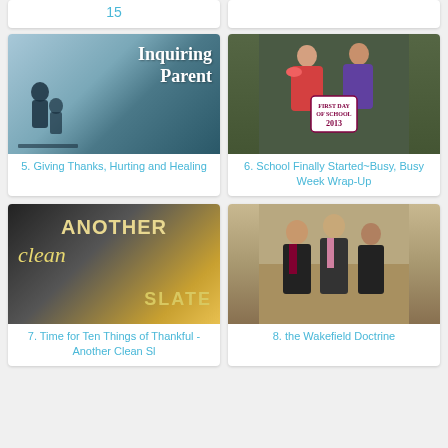15
[Figure (photo): Inquiring Parent blog thumbnail - silhouette of person on dock with text overlay]
5. Giving Thanks, Hurting and Healing
[Figure (photo): Two girls on first day of school 2013 with sign]
6. School Finally Started~Busy, Busy Week Wrap-Up
[Figure (photo): Another Clean Slate blog image with text]
7. Time for Ten Things of Thankful - Another Clean Sl
[Figure (photo): Three people standing together at formal event - Wakefield Doctrine]
8. the Wakefield Doctrine